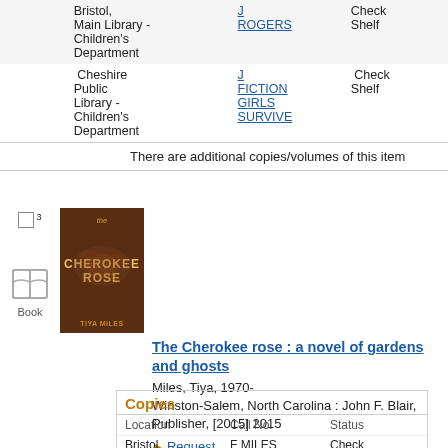|  | Location | Call No. | Status |
| --- | --- | --- | --- |
|  | Bristol, Main Library - Children's Department | J ROGERS | Check Shelf |
|  | Cheshire Public Library - Children's Department | J FICTION GIRLS SURVIVE | Check Shelf |
There are additional copies/volumes of this item
[Figure (illustration): Book icon labeled 'Book' with checkbox and superscript 3]
[Figure (photo): Book cover: The Cherokee Rose by Tiya Miles, brown/gold floral design]
The Cherokee rose : a novel of gardens and ghosts
Miles, Tiya, 1970-
Winston-Salem, North Carolina : John F. Blair, Publisher, [2015] 2015
▶ Request
| Location | Call No. | Status |
| --- | --- | --- |
| Bristol | F MILES | Check |